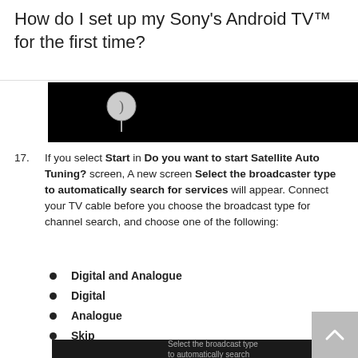How do I set up my Sony's Android TV™ for the first time?
[Figure (screenshot): Dark TV screen showing a remote control pointer cursor on a black background]
17. If you select Start in Do you want to start Satellite Auto Tuning? screen, A new screen Select the broadcaster type to automatically search for services will appear. Connect your TV cable before you choose the broadcast type for channel search, and choose one of the following:
Digital and Analogue
Digital
Analogue
Skip
[Figure (screenshot): Dark TV screen with text 'Select the broadcast type to automatically search']